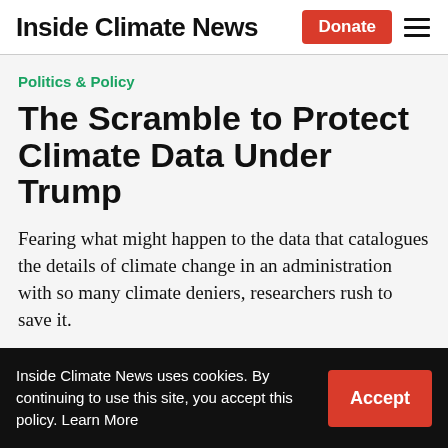Inside Climate News
Politics & Policy
The Scramble to Protect Climate Data Under Trump
Fearing what might happen to the data that catalogues the details of climate change in an administration with so many climate deniers, researchers rush to save it.
Inside Climate News uses cookies. By continuing to use this site, you accept this policy. Learn More